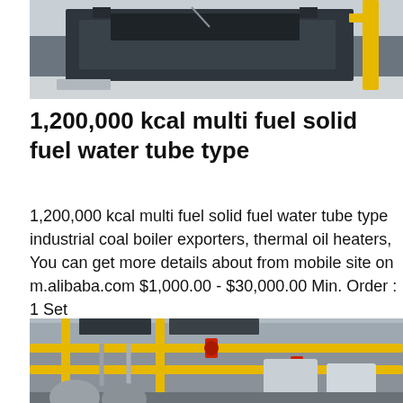[Figure (photo): Industrial machinery — large dark metal frame equipment, possibly a press or boiler component, in a factory or warehouse setting with a yellow structure visible in the background.]
1,200,000 kcal multi fuel solid fuel water tube type
1,200,000 kcal multi fuel solid fuel water tube type industrial coal boiler exporters, thermal oil heaters, You can get more details about from mobile site on m.alibaba.com $1,000.00 - $30,000.00 Min. Order : 1 Set
Get Price
[Figure (photo): Industrial boiler room interior showing yellow pipes, red valves, cylindrical tanks, and metal ductwork in a large facility.]